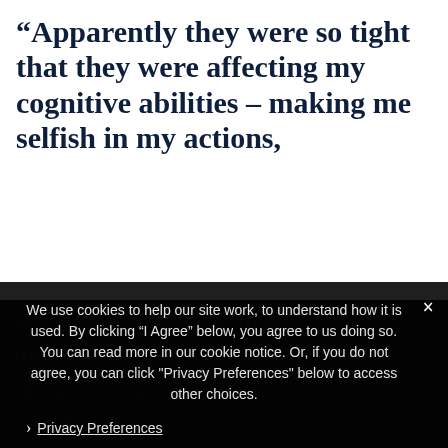“Apparently they were so tight that they were affecting my cognitive abilities – making me selfish in my actions,
yet uncoordinated in my movements.
“I did not understa…nce why I was taking every set piece and rudele…sly sp… th… out of the… but I…
We use cookies to help our site work, to understand how it is used. By clicking “I Agree” below, you agree to us doing so. You can read more in our cookie notice. Or, if you do not agree, you can click "Privacy Preferences" below to access other choices.